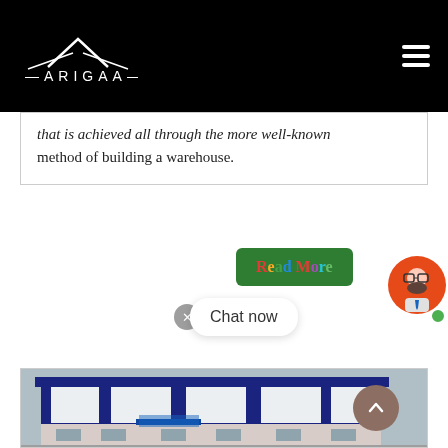ARIGAA — navigation bar with logo and hamburger menu
…that is achieved all through the more well-known method of building a warehouse.
[Figure (screenshot): Green 'Read More' button with colorful text, chat bubble overlay showing 'Chat now', close button, and avatar icon with green online dot]
[Figure (photo): Exterior photo of a large industrial warehouse building with dark blue/navy steel cladding and cream/white panel sections, under a clear sky]